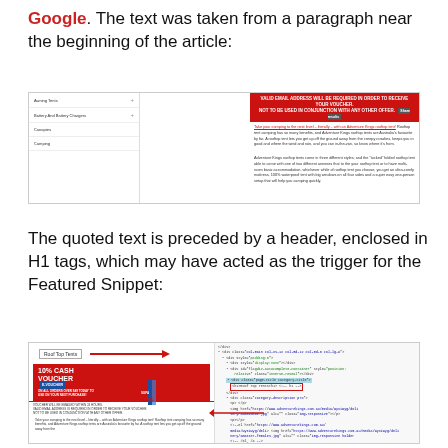Google. The text was taken from a paragraph near the beginning of the article:
[Figure (screenshot): Screenshot of a website showing rooftop tents product page with sidebar navigation (Awning Tents, Battery And Battery Chargers, Canopies, Camping) and a red banner warning about valid email address required and not to be used in conjunction with any other offer.]
The quoted text is preceded by a header, enclosed in H1 tags, which may have acted as the trigger for the Featured Snippet:
[Figure (screenshot): Screenshot showing a webpage with Roof Top Tents header highlighted with a red arrow pointing to it, a 10% Cash E-Voucher promotion image on the left, and HTML source code on the right showing the h1 tag for Roof Top Tents highlighted in a red box, with another red arrow pointing to it.]